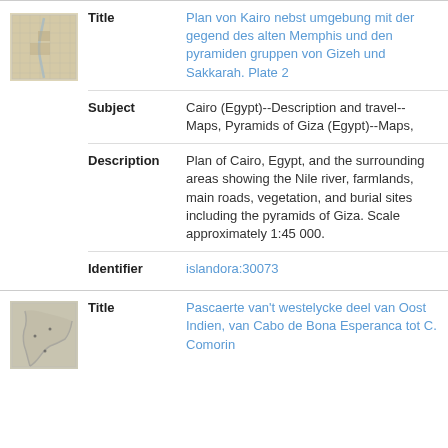[Figure (map): Thumbnail of a historical map of Cairo area]
Title: Plan von Kairo nebst umgebung mit der gegend des alten Memphis und den pyramiden gruppen von Gizeh und Sakkarah. Plate 2
Subject: Cairo (Egypt)--Description and travel--Maps, Pyramids of Giza (Egypt)--Maps,
Description: Plan of Cairo, Egypt, and the surrounding areas showing the Nile river, farmlands, main roads, vegetation, and burial sites including the pyramids of Giza. Scale approximately 1:45 000.
Identifier: islandora:30073
[Figure (map): Thumbnail of a historical map of eastern coastlines]
Title: Pascaerte van't westelycke deel van Oost Indien, van Cabo de Bona Esperanca tot C. Comorin